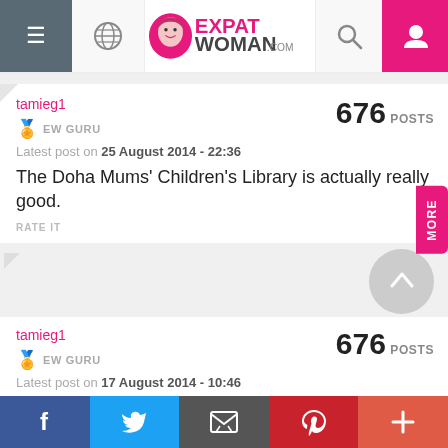ExpatWoman.com
tamieg1
676 POSTS
⭐ EW GURU
Latest post on 25 August 2014 - 22:36
The Doha Mums' Children's Library is actually really good.
RATE IT
tamieg1
676 POSTS
⭐ EW GURU
Latest post on 17 August 2014 - 10:46
f  Twitter  Email  Pinterest  +